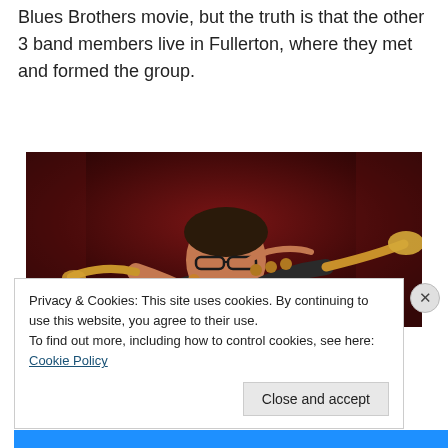Blues Brothers movie, but the truth is that the other 3 band members live in Fullerton, where they met and formed the group.
[Figure (photo): A man with glasses playing a trumpet on stage with a dark red curtain background]
Privacy & Cookies: This site uses cookies. By continuing to use this website, you agree to their use.
To find out more, including how to control cookies, see here: Cookie Policy
Close and accept